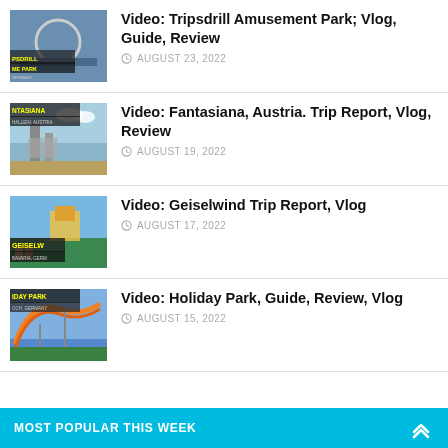Video: Tripsdrill Amusement Park; Vlog, Guide, Review — AUGUST 23, 2022
Video: Fantasiana, Austria. Trip Report, Vlog, Review — AUGUST 19, 2022
Video: Geiselwind Trip Report, Vlog — AUGUST 17, 2022
Video: Holiday Park, Guide, Review, Vlog — AUGUST 15, 2022
MOST POPULAR THIS WEEK